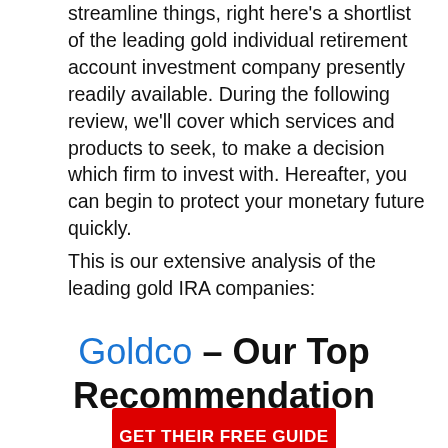streamline things, right here's a shortlist of the leading gold individual retirement account investment company presently readily available. During the following review, we'll cover which services and products to seek, to make a decision which firm to invest with. Hereafter, you can begin to protect your monetary future quickly.
This is our extensive analysis of the leading gold IRA companies:
Goldco – Our Top Recommendation
GET THEIR FREE GUIDE